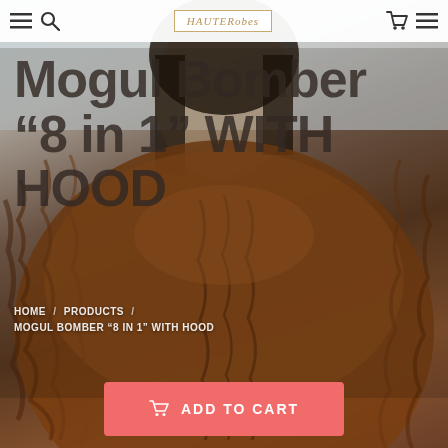HAUTErobes — navigation bar with menu, search, cart, and logo
[Figure (photo): Woman wearing a large luxurious brown and auburn faux fur bomber jacket with hood, against a light background. Product shot for fashion e-commerce.]
Mogul Bomber "8 in 1" WITH HOOD
HOME / PRODUCTS / MOGUL BOMBER "8 IN 1" WITH HOOD
ADD TO CART